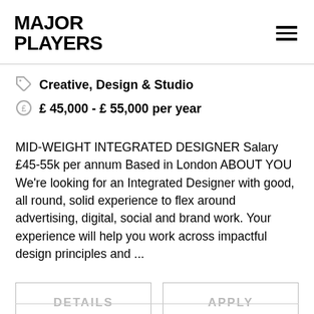MAJOR PLAYERS
Creative, Design & Studio
£ 45,000 - £ 55,000 per year
MID-WEIGHT INTEGRATED DESIGNER Salary £45-55k per annum Based in London ABOUT YOU We're looking for an Integrated Designer with good, all round, solid experience to flex around advertising, digital, social and brand work. Your experience will help you work across impactful design principles and ...
DETAILS
APPLY